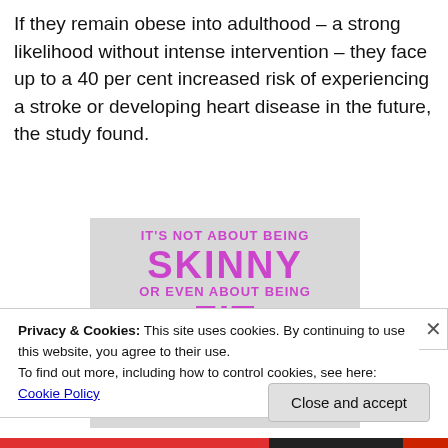If they remain obese into adulthood – a strong likelihood without intense intervention – they face up to a 40 per cent increased risk of experiencing a stroke or developing heart disease in the future, the study found.
[Figure (illustration): Motivational graphic on grey background with pink/magenta bold text reading: IT'S NOT ABOUT BEING SKINNY OR EVEN ABOUT BEING FIT...]
Privacy & Cookies: This site uses cookies. By continuing to use this website, you agree to their use.
To find out more, including how to control cookies, see here: Cookie Policy
Close and accept